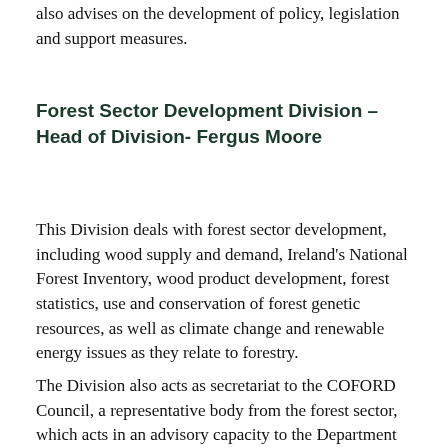also advises on the development of policy, legislation and support measures.
Forest Sector Development Division – Head of Division- Fergus Moore
This Division deals with forest sector development, including wood supply and demand, Ireland's National Forest Inventory, wood product development, forest statistics, use and conservation of forest genetic resources, as well as climate change and renewable energy issues as they relate to forestry.
The Division also acts as secretariat to the COFORD Council, a representative body from the forest sector, which acts in an advisory capacity to the Department